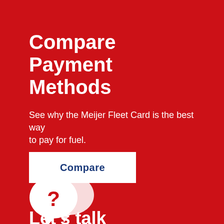Compare Payment Methods
See why the Meijer Fleet Card is the best way to pay for fuel.
Compare
[Figure (illustration): White chat bubble icons with a question mark, representing a help or FAQ section]
Let's talk